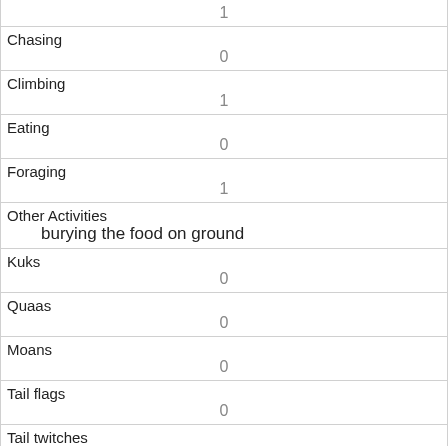| Field | Value |
| --- | --- |
| (partial top) | 1 |
| Chasing | 0 |
| Climbing | 1 |
| Eating | 0 |
| Foraging | 1 |
| Other Activities | burying the food on ground |
| Kuks | 0 |
| Quaas | 0 |
| Moans | 0 |
| Tail flags | 0 |
| Tail twitches |  |